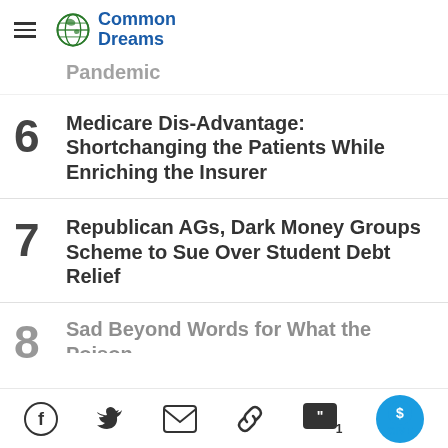Common Dreams
Pandemic
6 Medicare Dis-Advantage: Shortchanging the Patients While Enriching the Insurer
7 Republican AGs, Dark Money Groups Scheme to Sue Over Student Debt Relief
8 Sad Beyond Words for What the Poison...